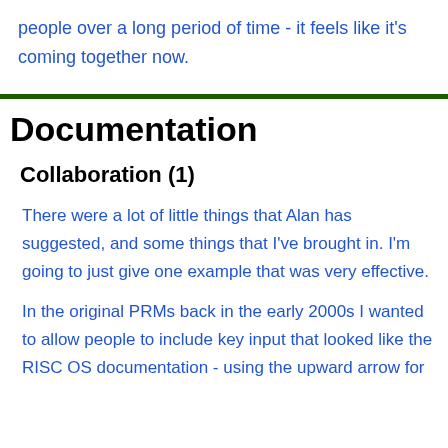people over a long period of time - it feels like it's coming together now.
Documentation
Collaboration (1)
There were a lot of little things that Alan has suggested, and some things that I've brought in. I'm going to just give one example that was very effective.
In the original PRMs back in the early 2000s I wanted to allow people to include key input that looked like the RISC OS documentation - using the upward arrow for